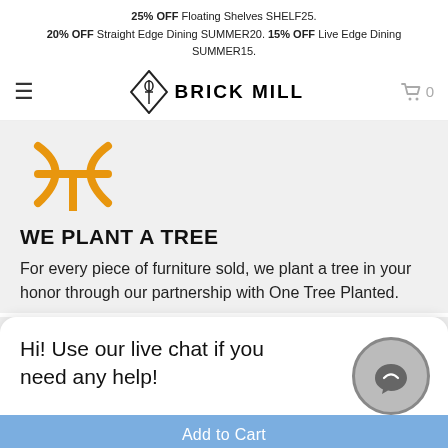25% OFF Floating Shelves SHELF25.
20% OFF Straight Edge Dining SUMMER20. 15% OFF Live Edge Dining SUMMER15.
[Figure (logo): Brick Mill logo with diamond shape containing a key icon and text BRICK MILL]
[Figure (illustration): Orange Pisces/Psi symbol icon]
WE PLANT A TREE
For every piece of furniture sold, we plant a tree in your honor through our partnership with One Tree Planted.
Hi! Use our live chat if you need any help!